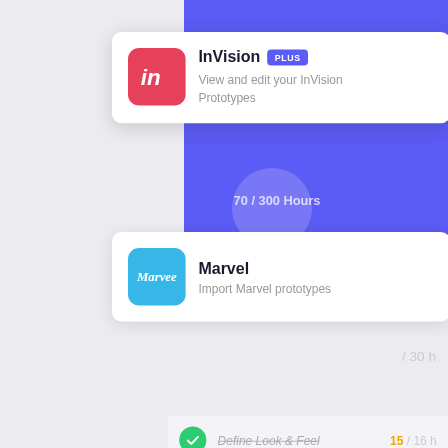[Figure (screenshot): UI screenshot showing layered cards: InVision integration card (with PLUS badge), Marvel integration card, a task list showing 'Define Look & Feel' (strikethrough, 15/16h), a notification popup (Flash Dashing added 3 new followers to board Pirate's treasure, 10:21 AM, with D/U/T avatar dots), 'About Us Design' row (4/16h), and 'Blog Design' row (0/16h), all on a light gray background with a purple band top-right and '70 / 300 Hours' label.]